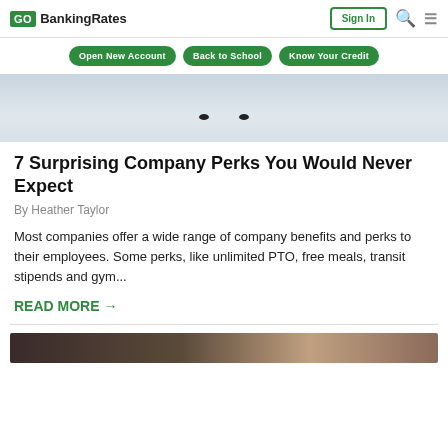GO BankingRates | Sign In
[Figure (screenshot): Navigation bar with green buttons: Open New Account, Back to School, Know Your Credit]
[Figure (photo): Partial hero image, light blue-grey background with two dark spots visible, appears to be an animal in snow]
7 Surprising Company Perks You Would Never Expect
By Heather Taylor
Most companies offer a wide range of company benefits and perks to their employees. Some perks, like unlimited PTO, free meals, transit stipends and gym...
READ MORE →
[Figure (photo): Bottom partial image showing faces/people, partially cut off]